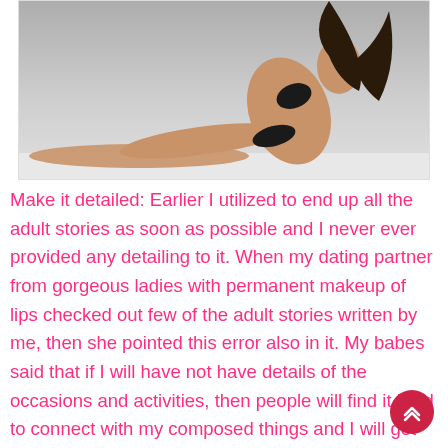[Figure (photo): A woman in a black bikini posing against a light grey background]
Make it detailed: Earlier I utilized to end up all the adult stories as soon as possible and I never ever provided any detailing to it. When my dating partner from gorgeous ladies with permanent makeup of lips checked out few of the adult stories written by me, then she pointed this error also in it. My babes said that if I will have not have details of the occasions and activities, then people will find it hard to connect with my composed things and I will get just cheap response from people of London and other part of the world too